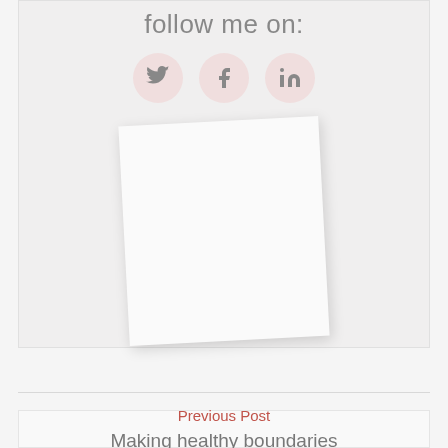follow me on:
[Figure (illustration): Social media icons: Twitter bird icon, Facebook 'f' icon, and LinkedIn 'in' icon, each inside a pink/rose circular background]
[Figure (illustration): A white blank paper/card tilted slightly to the left, with a drop shadow, displayed on a light gray background]
Previous Post
Making healthy boundaries